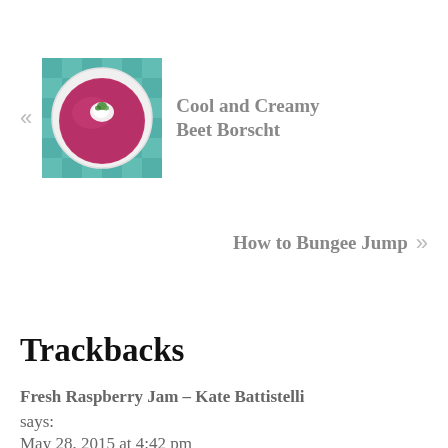[Figure (photo): Photo of a bowl of pink/magenta beet borscht soup with a white dollop of cream and herb garnish, on a teal checkered cloth]
« Cool and Creamy Beet Borscht
How to Bungee Jump »
Trackbacks
Fresh Raspberry Jam – Kate Battistelli
says:
May 28, 2015 at 4:42 pm
[…] Peach Butter […]